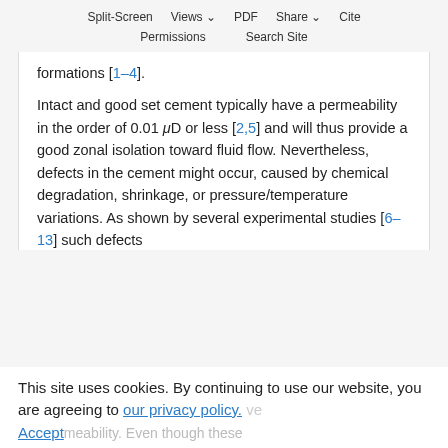Split-Screen   Views   PDF   Share   Cite
Permissions   Search Site
formations [1–4].
Intact and good set cement typically have a permeability in the order of 0.01 μD or less [2,5] and will thus provide a good zonal isolation toward fluid flow. Nevertheless, defects in the cement might occur, caused by chemical degradation, shrinkage, or pressure/temperature variations. As shown by several experimental studies [6–13] such defects
This site uses cookies. By continuing to use our website, you are agreeing to our privacy policy. Accept
permeability. Even though these